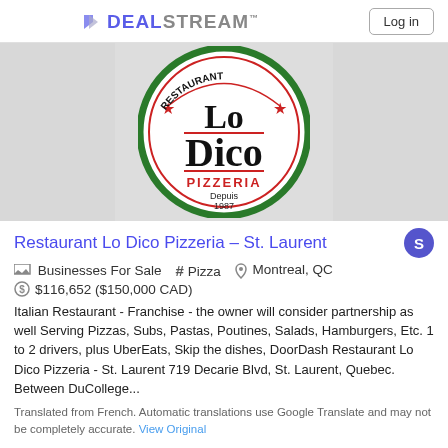DEALSTREAM  Log in
[Figure (logo): Lo Dico Pizzeria circular logo with green border, red stars, text 'Lo Dico PIZZERIA Depuis 1987']
Restaurant Lo Dico Pizzeria – St. Laurent
Businesses For Sale  # Pizza  Montreal, QC  $116,652 ($150,000 CAD)
Italian Restaurant - Franchise - the owner will consider partnership as well Serving Pizzas, Subs, Pastas, Poutines, Salads, Hamburgers, Etc. 1 to 2 drivers, plus UberEats, Skip the dishes, DoorDash Restaurant Lo Dico Pizzeria - St. Laurent 719 Decarie Blvd, St. Laurent, Quebec. Between DuCollege...
Translated from French. Automatic translations use Google Translate and may not be completely accurate. View Original